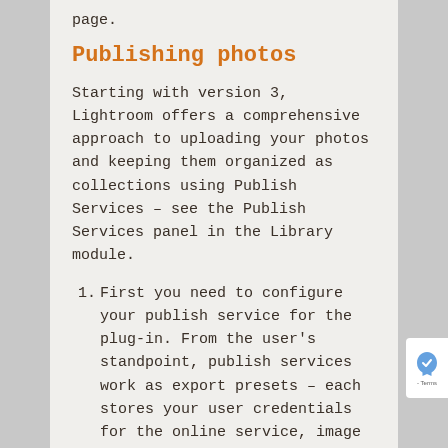page.
Publishing photos
Starting with version 3, Lightroom offers a comprehensive approach to uploading your photos and keeping them organized as collections using Publish Services – see the Publish Services panel in the Library module.
First you need to configure your publish service for the plug-in. From the user's standpoint, publish services work as export presets – each stores your user credentials for the online service, image settings, output sharpening, watermarking, etc. All publish